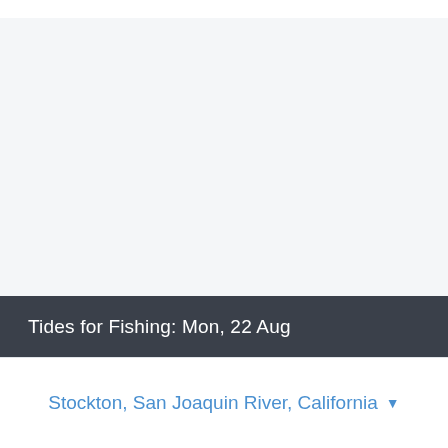Tides for Fishing: Mon, 22 Aug
Stockton, San Joaquin River, California ▾